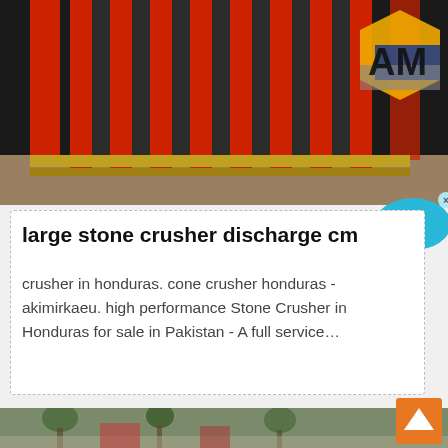[Figure (photo): Close-up photo of a large red stone crusher machine with parallel metal bars/teeth, with a partial logo showing 'AM' on the right side over a hexagonal orange and blue/grey shape]
[Figure (illustration): Live Chat speech bubble button in cyan/blue color with 'Live Chat' text and an x close button]
large stone crusher discharge cm
crusher in honduras. cone crusher honduras - akimirkaeu. high performance Stone Crusher in Honduras for sale in Pakistan - A full service…
[Figure (photo): Aerial/overhead photo of what appears to be a theme park or public space with trees, pathways, and decorative structures visible from above]
[Figure (illustration): Orange scroll-to-top button with white upward-pointing arrow chevron]